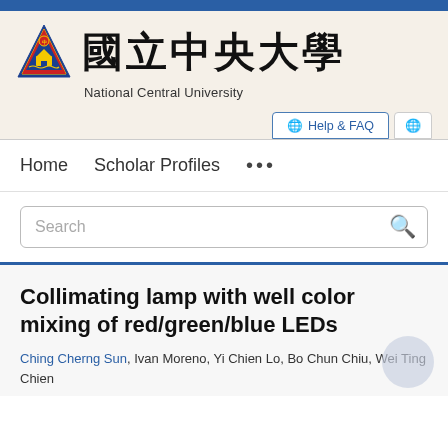[Figure (logo): National Central University logo with triangle emblem and Chinese and English name]
Help & FAQ  🌐
Home   Scholar Profiles   ...
Search
Collimating lamp with well color mixing of red/green/blue LEDs
Ching Cherng Sun, Ivan Moreno, Yi Chien Lo, Bo Chun Chiu, Wei Ting Chien